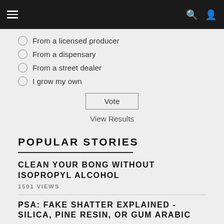Navigation bar with hamburger menu, search icon, and user icon
From a licensed producer
From a dispensary
From a street dealer
I grow my own
Vote
View Results
POPULAR STORIES
CLEAN YOUR BONG WITHOUT ISOPROPYL ALCOHOL
1501 VIEWS
PSA: FAKE SHATTER EXPLAINED - SILICA, PINE RESIN, OR GUM ARABIC